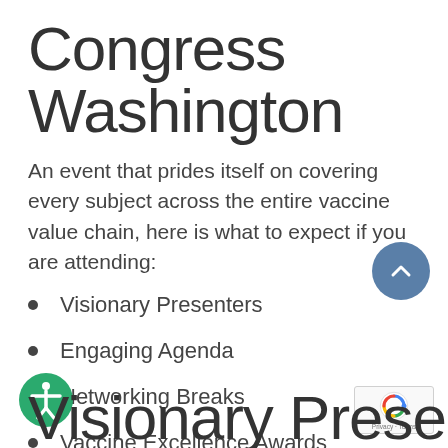Congress Washington
An event that prides itself on covering every subject across the entire vaccine value chain, here is what to expect if you are attending:
Visionary Presenters
Engaging Agenda
Networking Breaks
Vaccine Excellence Awards
Visionary Presenters